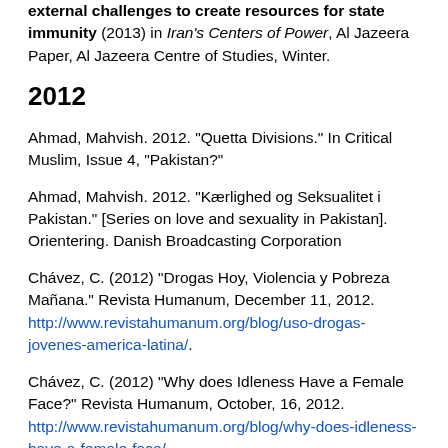external challenges to create resources for state immunity (2013) in Iran's Centers of Power, Al Jazeera Paper, Al Jazeera Centre of Studies, Winter.
2012
Ahmad, Mahvish. 2012. "Quetta Divisions." In Critical Muslim, Issue 4, "Pakistan?"
Ahmad, Mahvish. 2012. "Kærlighed og Seksualitet i Pakistan." [Series on love and sexuality in Pakistan]. Orientering. Danish Broadcasting Corporation
Chávez, C. (2012) “Drogas Hoy, Violencia y Pobreza Mañana.” Revista Humanum, December 11, 2012. http://www.revistahumanum.org/blog/uso-drogas-jovenes-america-latina/.
Chávez, C. (2012) “Why does Idleness Have a Female Face?” Revista Humanum, October, 16, 2012. http://www.revistahumanum.org/blog/why-does-idleness-have-a-female-face/.